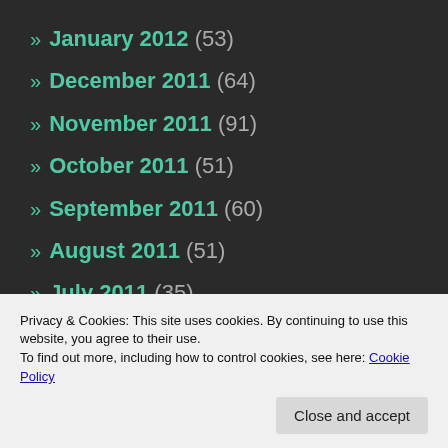» January 2012 (53)
» December 2011 (64)
» November 2011 (91)
» October 2011 (51)
» September 2011 (60)
» August 2011 (51)
» July 2011 (35)
» June 2011 (34)
» May 2011 (42)
» April 2011 (36)
Privacy & Cookies: This site uses cookies. By continuing to use this website, you agree to their use.
To find out more, including how to control cookies, see here: Cookie Policy
» December 2010 (57)